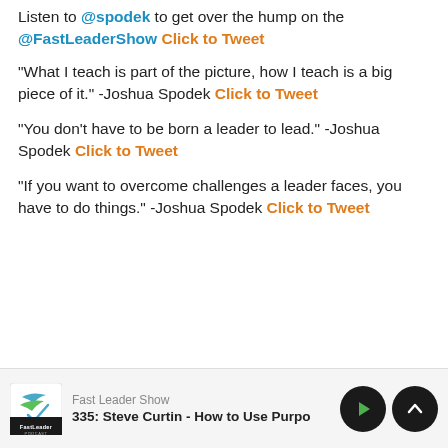Listen to @spodek to get over the hump on the @FastLeaderShow Click to Tweet
“What I teach is part of the picture, how I teach is a big piece of it.” -Joshua Spodek Click to Tweet
“You don’t have to be born a leader to lead.” -Joshua Spodek Click to Tweet
“If you want to overcome challenges a leader faces, you have to do things.” -Joshua Spodek Click to Tweet
Fast Leader Show | 335: Steve Curtin - How to Use Purpo…